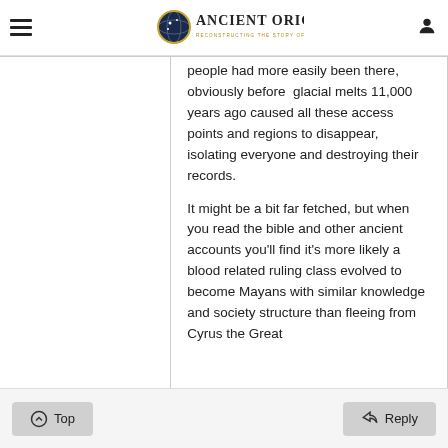Ancient Origins — Reconstructing the story of humanity's past
people had more easily been there, obviously before  glacial melts 11,000 years ago caused all these access points and regions to disappear, isolating everyone and destroying their records.
It might be a bit far fetched, but when you read the bible and other ancient accounts you'll find it's more likely a blood related ruling class evolved to become Mayans with similar knowledge and society structure than fleeing from Cyrus the Great
Top   Reply